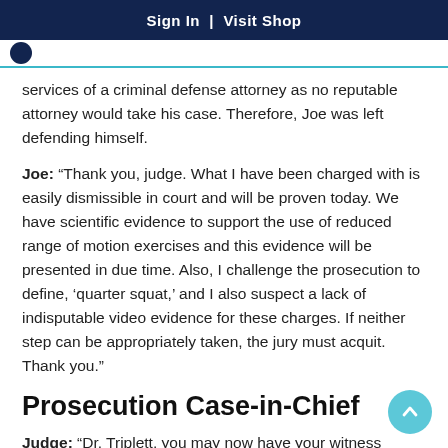Sign In  |  Visit Shop
services of a criminal defense attorney as no reputable attorney would take his case. Therefore, Joe was left defending himself.
Joe: “Thank you, judge. What I have been charged with is easily dismissible in court and will be proven today. We have scientific evidence to support the use of reduced range of motion exercises and this evidence will be presented in due time. Also, I challenge the prosecution to define, ‘quarter squat,’ and I also suspect a lack of indisputable video evidence for these charges. If neither step can be appropriately taken, the jury must acquit. Thank you.”
Prosecution Case-in-Chief
Judge: “Dr. Triplett, you may now have your witness